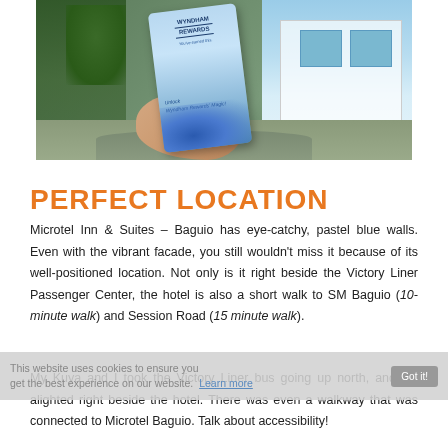[Figure (photo): A hand holding a Wyndham Rewards card that reads 'Unlock Wyndham Rewards' Magic!' in front of a hotel building exterior with trees and a driveway in the background.]
PERFECT LOCATION
Microtel Inn & Suites – Baguio has eye-catchy, pastel blue walls. Even with the vibrant facade, you still wouldn't miss it because of its well-positioned location. Not only is it right beside the Victory Liner Passenger Center, the hotel is also a short walk to SM Baguio (10-minute walk) and Session Road (15 minute walk).
My Kuya and I took the Victory Liner bus going up north, and we alighted right beside the hotel. There was even a walkway that was connected to Microtel Baguio. Talk about accessibility!